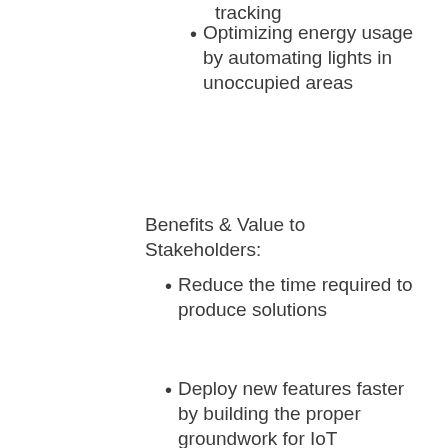Optimizing energy usage by automating lights in unoccupied areas
Benefits & Value to Stakeholders:
Reduce the time required to produce solutions
Deploy new features faster by building the proper groundwork for IoT
Increase safety of employees and visitors
Embrace an IoT